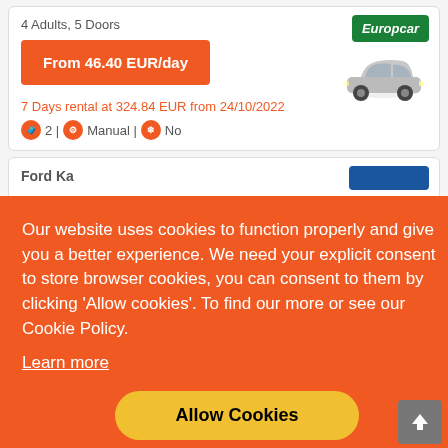4 Adults, 5 Doors
From 46.40 EUR/day
[Figure (logo): Europcar logo — green badge with white italic text]
[Figure (photo): Silver small car (VW Up style) side view]
7 Days rental at 324.84 EUR from 24/10/2022
2 | Manual | No
Ford Ka
Our website uses cookies to function properly and give you a better experience. We need your explicit consent to store browser cookies, you can consent to them by clicking 'Allow cookies'. To find our more or see our Cookie Policy.
Learn more
Allow Cookies
From 46.42 EUR/day